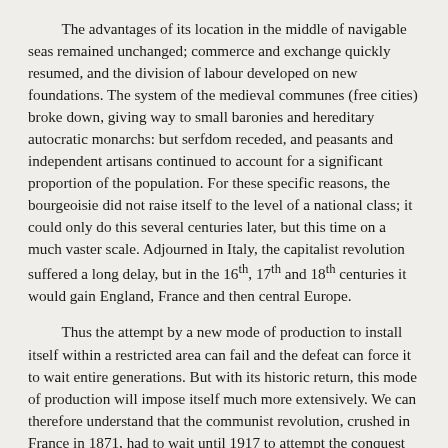The advantages of its location in the middle of navigable seas remained unchanged; commerce and exchange quickly resumed, and the division of labour developed on new foundations. The system of the medieval communes (free cities) broke down, giving way to small baronies and hereditary autocratic monarchs: but serfdom receded, and peasants and independent artisans continued to account for a significant proportion of the population. For these specific reasons, the bourgeoisie did not raise itself to the level of a national class; it could only do this several centuries later, but this time on a much vaster scale. Adjourned in Italy, the capitalist revolution suffered a long delay, but in the 16th, 17th and 18th centuries it would gain England, France and then central Europe.
Thus the attempt by a new mode of production to install itself within a restricted area can fail and the defeat can force it to wait entire generations. But with its historic return, this mode of production will impose itself much more extensively. We can therefore understand that the communist revolution, crushed in France in 1871, had to wait until 1917 to attempt the conquest not just of France, but of the whole of Europe; and that, though it is today defeated and drained of energy, just like the narrow bourgeois revolution of the Italian municipalities was in its time, one day it will be able, after a period of several generations, revive again and not just in the areas occupied and controlled by